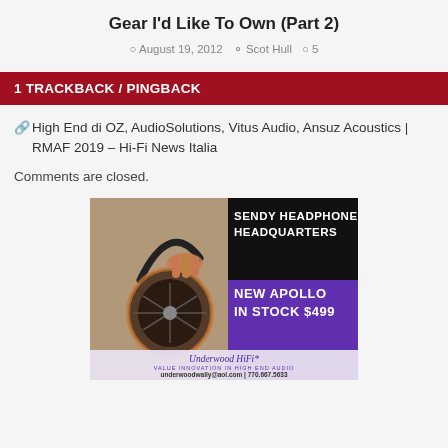Gear I'd Like To Own (Part 2)
August 19, 2012  Scot Hull  5
1 TRACKBACK / PINGBACK
High End di OZ, AudioSolutions, Vitus Audio, Ansuz Acoustics | RMAF 2019 – Hi-Fi News Italia
Comments are closed.
[Figure (photo): Sendy Headphone Headquarters advertisement banner. Shows a pair of wooden-cup headphones on the left side with a purple/black background on the right side. Text reads: SENDY HEADPHONE HEADQUARTERS, NEW APOLLO IN STOCK $499. Underwood HiFi logo with underwoodwally@aol.com | 770.667.5633]